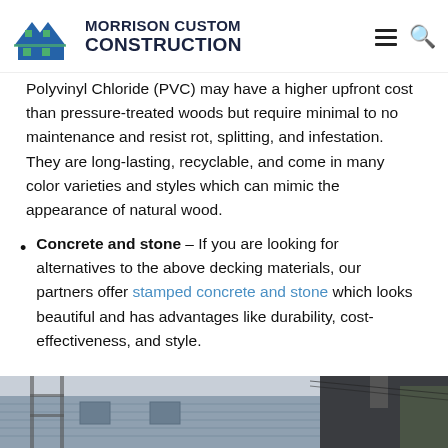MORRISON CUSTOM CONSTRUCTION
Polyvinyl Chloride (PVC) may have a higher upfront cost than pressure-treated woods but require minimal to no maintenance and resist rot, splitting, and infestation. They are long-lasting, recyclable, and come in many color varieties and styles which can mimic the appearance of natural wood.
Concrete and stone – If you are looking for alternatives to the above decking materials, our partners offer stamped concrete and stone which looks beautiful and has advantages like durability, cost-effectiveness, and style.
[Figure (photo): Exterior photo of a house with siding and scaffolding, partially cropped at bottom of page.]